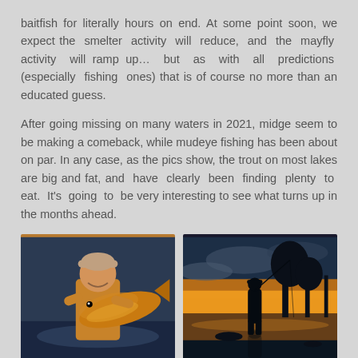baitfish for literally hours on end. At some point soon, we expect the smelter activity will reduce, and the mayfly activity will ramp up… but as with all predictions (especially fishing ones) that is of course no more than an educated guess.

After going missing on many waters in 2021, midge seem to be making a comeback, while mudeye fishing has been about on par. In any case, as the pics show, the trout on most lakes are big and fat, and have clearly been finding plenty to eat. It's going to be very interesting to see what turns up in the months ahead.
[Figure (photo): Man holding a large golden-brown trout fish at dusk near a lake]
[Figure (photo): Silhouette of a person fishing at a lake during a golden sunset with trees in background]